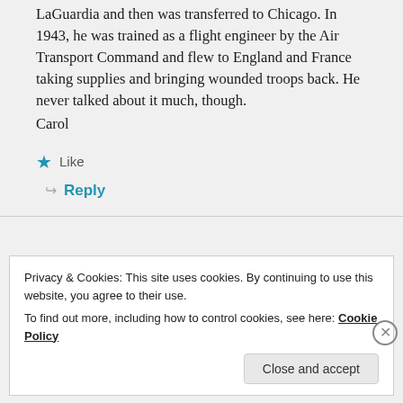LaGuardia and then was transferred to Chicago. In 1943, he was trained as a flight engineer by the Air Transport Command and flew to England and France taking supplies and bringing wounded troops back. He never talked about it much, though.
Carol
★ Like
↩ Reply
Privacy & Cookies: This site uses cookies. By continuing to use this website, you agree to their use.
To find out more, including how to control cookies, see here: Cookie Policy
Close and accept